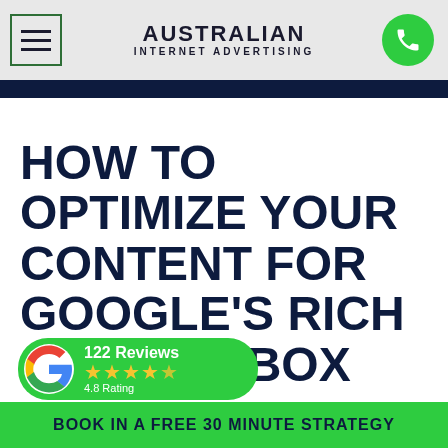AUSTRALIAN INTERNET ADVERTISING
HOW TO OPTIMIZE YOUR CONTENT FOR GOOGLE'S RICH ANSWER BOX
[Figure (logo): Google Reviews badge showing 122 Reviews, 4.8 Rating with 4.5 stars]
BOOK IN A FREE 30 MINUTE STRATEGY